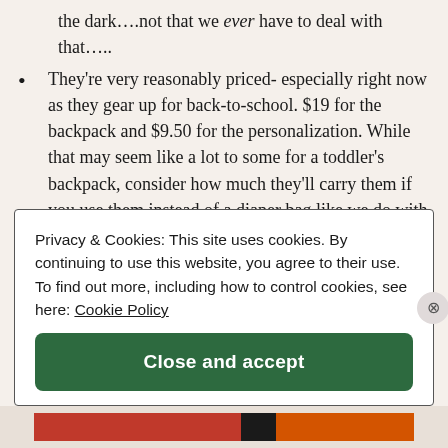the dark….not that we ever have to deal with that…..
They're very reasonably priced- especially right now as they gear up for back-to-school. $19 for the backpack and $9.50 for the personalization. While that may seem like a lot to some for a toddler's backpack, consider how much they'll carry them if you use them instead of a diaper bag like we do with ours. Unless
Privacy & Cookies: This site uses cookies. By continuing to use this website, you agree to their use.
To find out more, including how to control cookies, see here: Cookie Policy
Close and accept